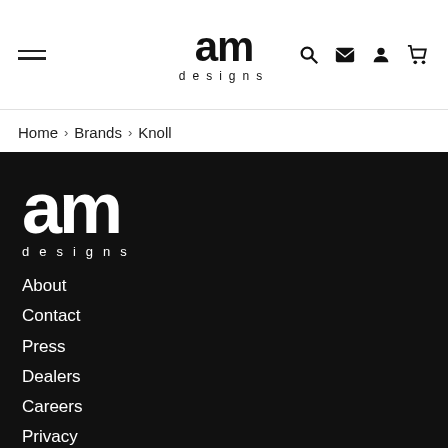am designs — navigation header with hamburger menu and icons
Home > Brands > Knoll
[Figure (logo): AM Designs logo in white on dark background, large stylized 'am' text with 'designs' in spaced letters below]
About
Contact
Press
Dealers
Careers
Privacy
am residences
[Figure (other): Social media icons: Facebook, Instagram, Pinterest, Twitter in white]